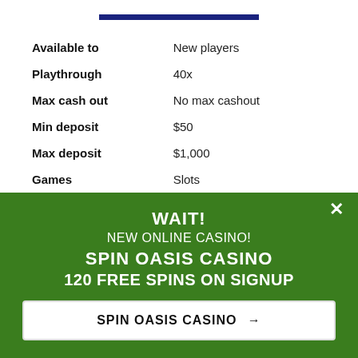| Field | Value |
| --- | --- |
| Available to | New players |
| Playthrough | 40x |
| Max cash out | No max cashout |
| Min deposit | $50 |
| Max deposit | $1,000 |
| Games | Slots |
| Expires in | Unlimited Time |
WAIT!
NEW ONLINE CASINO!
SPIN OASIS CASINO
120 FREE SPINS ON SIGNUP
SPIN OASIS CASINO →